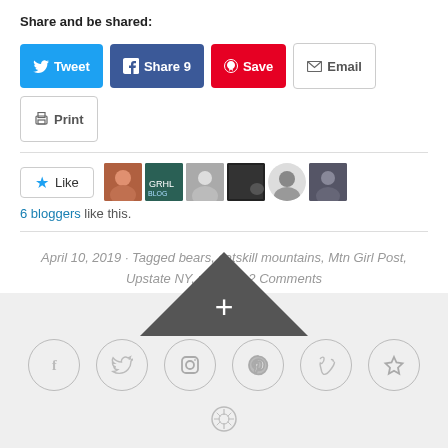Share and be shared:
[Figure (infographic): Social sharing buttons: Tweet (blue), Share 9 (dark blue Facebook), Save (red Pinterest), Email (outlined), Print (outlined)]
[Figure (infographic): Like button with star icon and 6 blogger avatar thumbnails]
6 bloggers like this.
April 10, 2019 · Tagged bears, catskill mountains, Mtn Girl Post, Upstate NY, wildlife · 2 Comments
[Figure (infographic): Dark triangle plus button above footer bar with 6 social media icon circles (Facebook, Twitter, Instagram, Pinterest, Vimeo, Star/Favorites) and a WordPress logo at bottom]